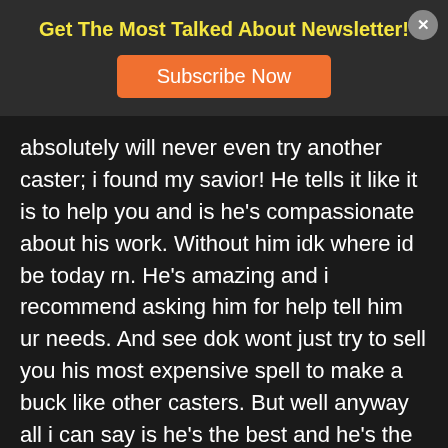Get The Most Talked About Newsletter!
Subscribe Now
absolutely will never even try another caster; i found my savior! He tells it like it is to help you and is he's compassionate about his work. Without him idk where id be today rn. He's amazing and i recommend asking him for help tell him ur needs. And see dok wont just try to sell you his most expensive spell to make a buck like other casters. But well anyway all i can say is he's the best and he's the man and his spells work. They might take time but they do work!!! And i have the upmost respect for him. Thanks dok for everything you do! I love